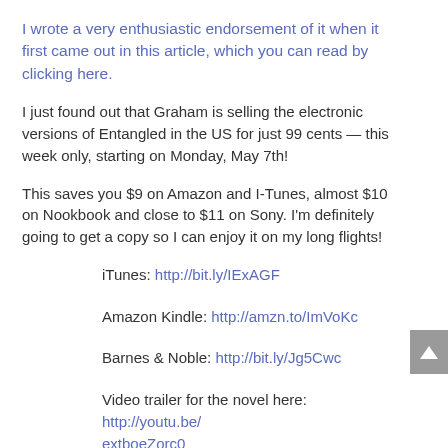I wrote a very enthusiastic endorsement of it when it first came out in this article, which you can read by clicking here.
I just found out that Graham is selling the electronic versions of Entangled in the US for just 99 cents — this week only, starting on Monday, May 7th!
This saves you $9 on Amazon and I-Tunes, almost $10 on Nookbook and close to $11 on Sony. I'm definitely going to get a copy so I can enjoy it on my long flights!
iTunes: http://bit.ly/IExAGF
Amazon Kindle: http://amzn.to/ImVoKc
Barnes & Noble: http://bit.ly/Jg5Cwc
Video trailer for the novel here: http://youtu.be/extboeZorc0